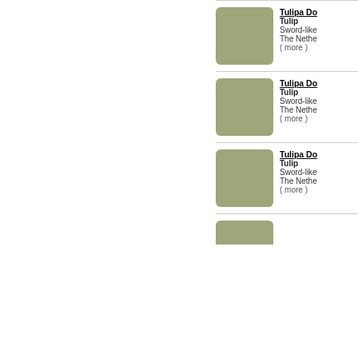[Figure (photo): Placeholder image (olive/sage green square with rounded corners) for Tulipa Do entry 1]
Tulipa Do
Tulip
Sword-like
The Nethe
( more )
[Figure (photo): Placeholder image (olive/sage green square with rounded corners) for Tulipa Do entry 2]
Tulipa Do
Tulip
Sword-like
The Nethe
( more )
[Figure (photo): Placeholder image (olive/sage green square with rounded corners) for Tulipa Do entry 3]
Tulipa Do
Tulip
Sword-like
The Nethe
( more )
[Figure (photo): Placeholder image (olive/sage green square with rounded corners) for Tulipa Do entry 4 — partial]